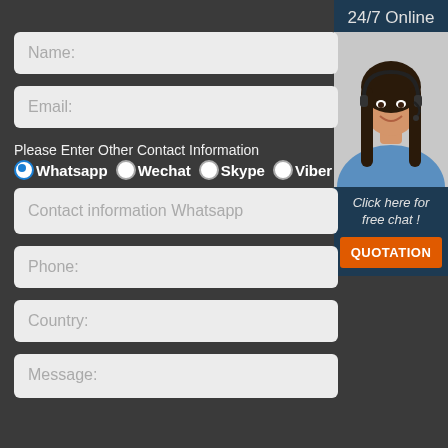Name:
Email:
Please Enter Other Contact Information
Whatsapp  Wechat  Skype  Viber
Contact information Whatsapp
Phone:
Country:
Message:
[Figure (photo): 24/7 Online support agent - woman with headset smiling, with 'Click here for free chat!' text and QUOTATION button]